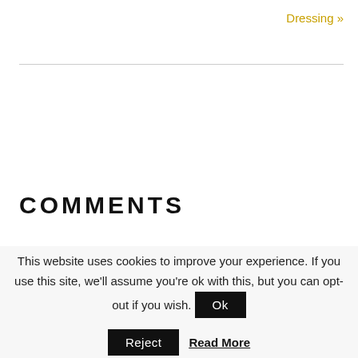Dressing »
COMMENTS
This website uses cookies to improve your experience. If you use this site, we'll assume you're ok with this, but you can opt-out if you wish.
Ok
Reject
Read More